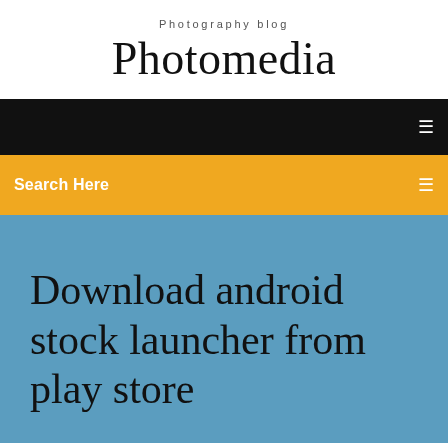Photography blog
Photomedia
Search Here
Download android stock launcher from play store